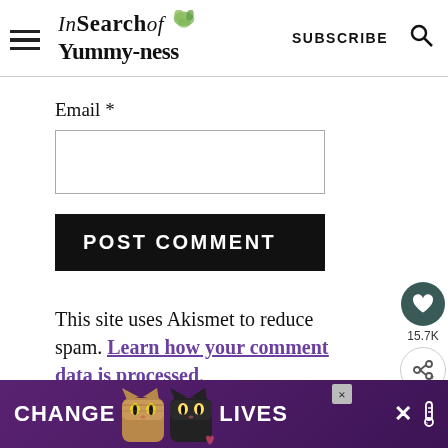In Search of Yummy-ness | SUBSCRIBE
Email *
POST COMMENT
This site uses Akismet to reduce spam. Learn how your comment data is processed.
[Figure (infographic): CHANGE LIVES advertisement banner with cat photos]
[Figure (other): Floating heart and share buttons on right side]